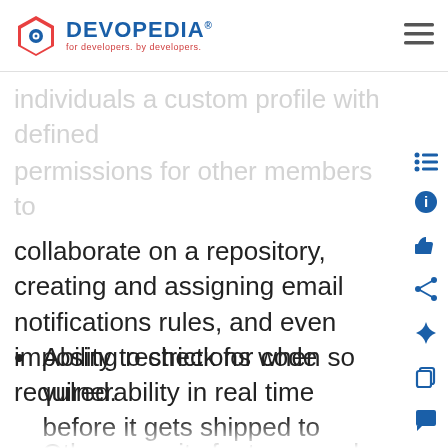DEVOPEDIA® — for developers. by developers.
individuals a custom profile with defined permissions for other members to collaborate on a repository, creating and assigning email notifications rules, and even imposing restrictions when so required.
Ability to check for code vulnerability in real time before it gets shipped to production
Other security features such as private repositories, two-factor authentication for user accounts, and security audit logs to track who has performed what actions